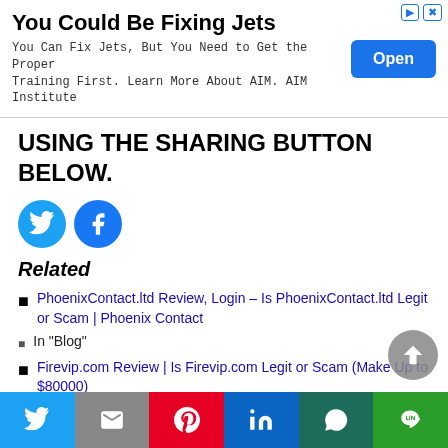[Figure (screenshot): Advertisement banner: 'You Could Be Fixing Jets' with Open button]
USING THE SHARING BUTTON BELOW.
[Figure (infographic): Twitter and Facebook circular share buttons]
Related
PhoenixContact.ltd Review, Login – Is PhoenixContact.ltd Legit or Scam | Phoenix Contact
In "Blog"
Firevip.com Review | Is Firevip.com Legit or Scam (Make Up to $80000)
Twitter | Gmail | Pinterest | LinkedIn | WhatsApp | Line share buttons